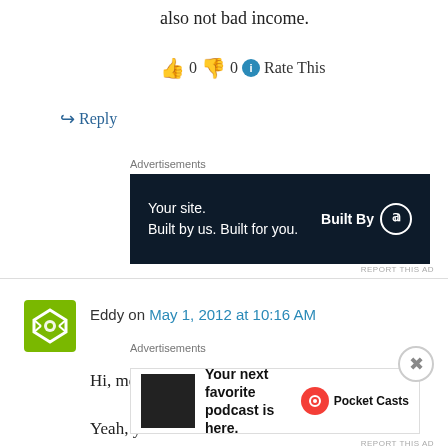also not bad income.
👍 0 👎 0 ℹ Rate This
↪ Reply
Advertisements
[Figure (screenshot): WordPress 'Built By' advertisement banner: dark navy background with white text 'Your site. Built by us. Built for you.' and 'Built By' with WordPress logo on the right.]
Eddy on May 1, 2012 at 10:16 AM
Hi, medical student,
Yeah, you can also do sales for banks to promote their credit cards. There are many
Advertisements
[Figure (screenshot): Pocket Casts advertisement: dark background app image on left, bold text 'Your next favorite podcast is here.' in middle, Pocket Casts logo and name on right.]